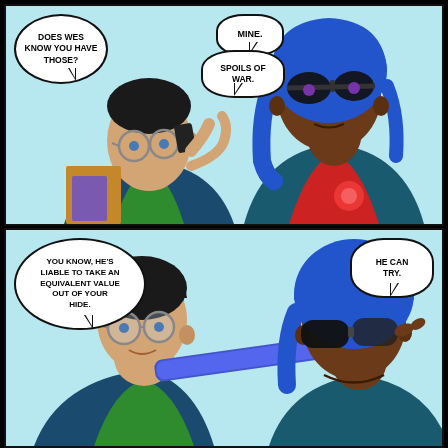[Figure (illustration): Comic strip page with two panels. Top panel: two characters, a person with glasses on a phone and a blue-haired character with goggles. Speech bubbles: 'DOES WES KNOW YOU HAVE THOSE?', 'MINE.', 'SPOILS OF WAR.' Bottom panel: same two characters closer up, blue-haired character putting on sunglasses. Speech bubbles: 'YOU KNOW, HE'S LIABLE TO TAKE AN EQUIVALENT VALUE OUT OF YOUR HIDE.', 'HE CAN TRY.']